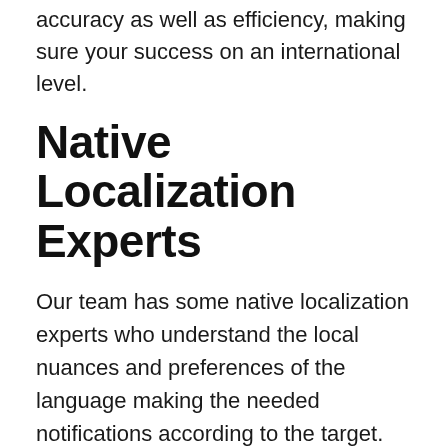accuracy as well as efficiency, making sure your success on an international level.
Native Localization Experts
Our team has some native localization experts who understand the local nuances and preferences of the language making the needed notifications according to the target.
Our affordable services make it easy for your company to localize your websites, software, and any other marketing material efficiently and effectively all over the regions. Join our